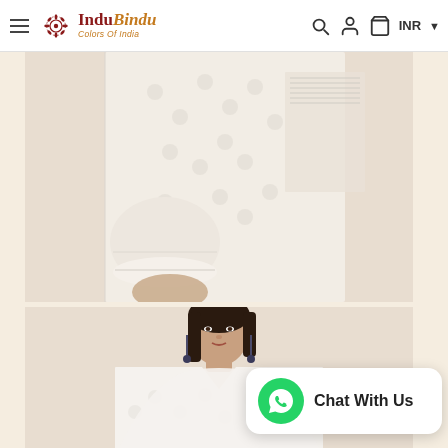InduBindu Colors Of India — INR
[Figure (photo): Close-up detail of a white embroidered kurta showing the sleeve, cuff, and side panel with textured fabric and delicate embroidery on a cream background.]
[Figure (photo): Indian woman wearing a white embroidered kurta (top portion showing face, neckline with small V-notch, and upper chest), with dark hair, drop earrings, neutral expression, against a cream/beige background.]
Chat With Us